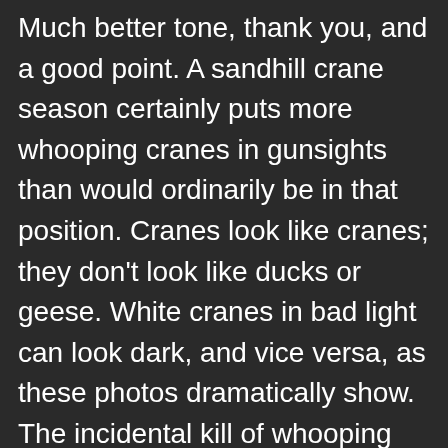Much better tone, thank you, and a good point. A sandhill crane season certainly puts more whooping cranes in gunsights than would ordinarily be in that position. Cranes look like cranes; they don't look like ducks or geese. White cranes in bad light can look dark, and vice versa, as these photos dramatically show. The incidental kill of whooping cranes is another thing that should seriously be considered in deciding whether having a sandhill crane season is worth it or not. Especially when there seem to be some individuals out now, deliberately gunning for the endangered cranes. Opening